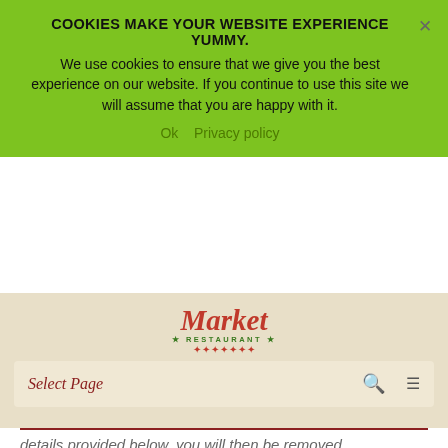COOKIES MAKE YOUR WEBSITE EXPERIENCE YUMMY.
We use cookies to ensure that we give you the best experience on our website. If you continue to use this site we will assume that you are happy with it.
Ok   Privacy policy
[Figure (logo): Market & Restaurant logo in red italic serif font with green decorative elements]
Select Page
details provided below, you will then be removed from the marketing email list – however, we will still need to send you service-related emails that are necessary for the administration and use of your account. To otherwise opt-out, you may:
Note your preferences when you register an account with the site.
Access your account settings and update